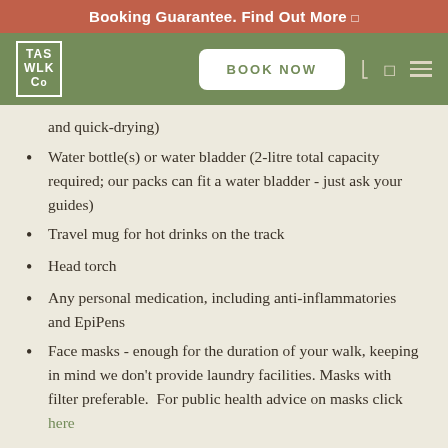Booking Guarantee. Find Out More
[Figure (logo): TAS WLK Co logo in white on olive green nav bar with BOOK NOW button]
and quick-drying)
Water bottle(s) or water bladder (2-litre total capacity required; our packs can fit a water bladder - just ask your guides)
Travel mug for hot drinks on the track
Head torch
Any personal medication, including anti-inflammatories and EpiPens
Face masks - enough for the duration of your walk, keeping in mind we don't provide laundry facilities. Masks with filter preferable.  For public health advice on masks click here